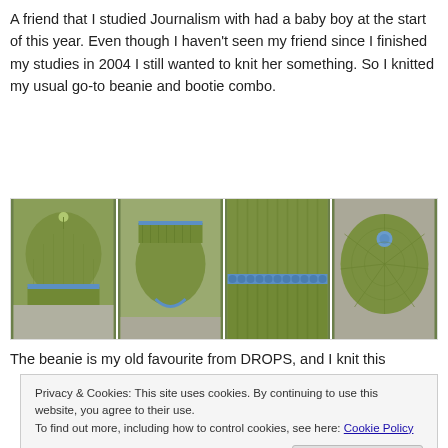A friend that I studied Journalism with had a baby boy at the start of this year. Even though I haven't seen my friend since I finished my studies in 2004 I still wanted to knit her something. So I knitted my usual go-to beanie and bootie combo.
[Figure (photo): Four photos of green knitted baby items: beanie hat with blue trim from front, bootie from back, close-up of blue crochet edge detail, and beanie from top showing button.]
The beanie is my old favourite from DROPS, and I knit this
Privacy & Cookies: This site uses cookies. By continuing to use this website, you agree to their use.
To find out more, including how to control cookies, see here: Cookie Policy
Close and accept